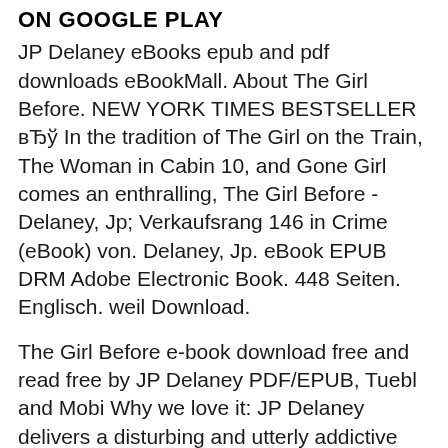ON GOOGLE PLAY
JP Delaney eBooks epub and pdf downloads eBookMall. About The Girl Before. NEW YORK TIMES BESTSELLER вЂў In the tradition of The Girl on the Train, The Woman in Cabin 10, and Gone Girl comes an enthralling, The Girl Before - Delaney, Jp; Verkaufsrang 146 in Crime (eBook) von. Delaney, Jp. eBook EPUB DRM Adobe Electronic Book. 448 Seiten. Englisch. weil Download.
The Girl Before e-book download free and read free by JP Delaney PDF/EPUB, Tuebl and Mobi Why we love it: JP Delaney delivers a disturbing and utterly addictive psychological thriller about the price of perfection and the enduring power of obsession.